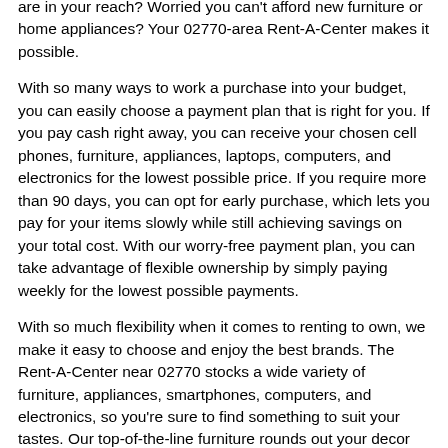are in your reach? Worried you can't afford new furniture or home appliances? Your 02770-area Rent-A-Center makes it possible.
With so many ways to work a purchase into your budget, you can easily choose a payment plan that is right for you. If you pay cash right away, you can receive your chosen cell phones, furniture, appliances, laptops, computers, and electronics for the lowest possible price. If you require more than 90 days, you can opt for early purchase, which lets you pay for your items slowly while still achieving savings on your total cost. With our worry-free payment plan, you can take advantage of flexible ownership by simply paying weekly for the lowest possible payments.
With so much flexibility when it comes to renting to own, we make it easy to choose and enjoy the best brands. The Rent-A-Center near 02770 stocks a wide variety of furniture, appliances, smartphones, computers, and electronics, so you're sure to find something to suit your tastes. Our top-of-the-line furniture rounds out your decor with premium durability and comfort. Our store brings you the best in